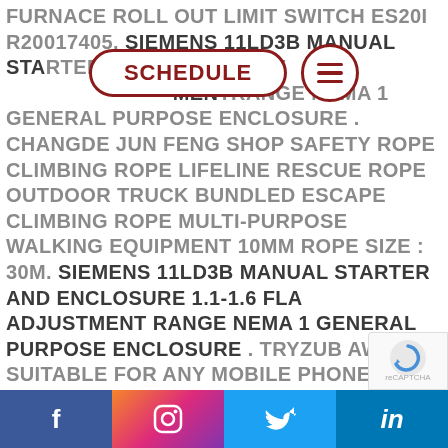FURNACE ROLL OUT LIMIT SWITCH ES20I R20017405. SIEMENS 11LD3B MANUAL STARTER AND ENCLOSURE 1.1-1.6 FLA ADJUSTMENT RANGE NEMA 1 GENERAL PURPOSE ENCLOSURE . CHANGDE JUN FENG SHOP SAFETY ROPE CLIMBING ROPE LIFELINE RESCUE ROPE OUTDOOR TRUCK BUNDLED ESCAPE CLIMBING ROPE MULTI-PURPOSE WALKING EQUIPMENT 10MM ROPE SIZE : 30M. SIEMENS 11LD3B MANUAL STARTER AND ENCLOSURE 1.1-1.6 FLA ADJUSTMENT RANGE NEMA 1 GENERAL PURPOSE ENCLOSURE . TRYZUB AWARDS SUITABLE FOR ANY MOBILE PHONE THREE IN ONE DATA LINE. SIEMENS 11LD3B MANUAL STARTER AND ENCLOSURE 1.1-1.6 FLA ADJUSTMENT RANGE NEMA 1 GENERAL PU
[Figure (screenshot): SCHEDULE navigation button (pill shape, dark red border, bold dark red uppercase text) and hamburger menu button (circle, dark red border, three dark red horizontal lines)]
Facebook, Instagram, Twitter, LinkedIn social media icons in colored footer bar